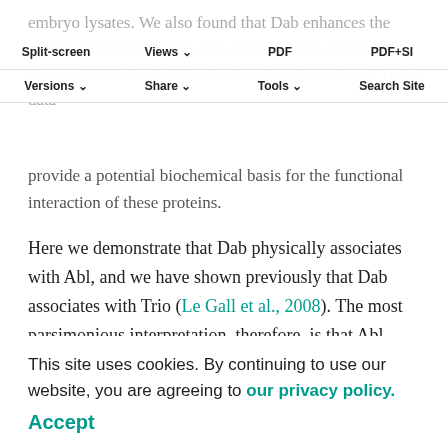embryo lysates. We also found that Dab enhances the kinase activity of Abl in vivo, as assayed by FRET. In addition to controlling Abl subcellular localization. These data provide a potential biochemical basis for the functional interaction of these proteins.
Split-screen | Views | PDF | PDF+SI | Versions | Share | Tools | Search Site
Here we demonstrate that Dab physically associates with Abl, and we have shown previously that Dab associates with Trio (Le Gall et al., 2008). The most parsimonious interpretation, therefore, is that Abl, Dab and Trio form a single, trimeric complex. We have as yet been unable, however, to show direct interaction of Abl with Trio or co-IP of Abl and Trio from tissue or cell lysates. Although we
complexes with Abl and Sab indicate that it is more likely that this reflects technical limitations of the experiment. It
This site uses cookies. By continuing to use our website, you are agreeing to our privacy policy. Accept